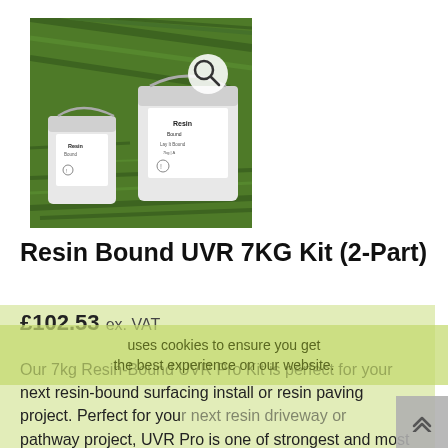[Figure (photo): Two white plastic buckets of Resin Bound UVR product on green grass background. A larger bucket on the right and a smaller bucket on the left, both with product labels. A magnifying glass search icon overlays the top right of the image.]
Resin Bound UVR 7KG Kit (2-Part)
£102.53 ex. VAT
uses cookies to ensure you get the best experience on our website.
Our 7kg Resin-Bound UVR Pro Kit is perfect for your next resin-bound surfacing install or resin paving project. Perfect for your next resin driveway or pathway project, UVR Pro is one of strongest and most